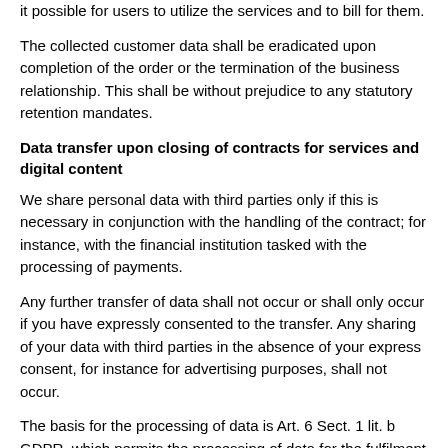it possible for users to utilize the services and to bill for them.
The collected customer data shall be eradicated upon completion of the order or the termination of the business relationship. This shall be without prejudice to any statutory retention mandates.
Data transfer upon closing of contracts for services and digital content
We share personal data with third parties only if this is necessary in conjunction with the handling of the contract; for instance, with the financial institution tasked with the processing of payments.
Any further transfer of data shall not occur or shall only occur if you have expressly consented to the transfer. Any sharing of your data with third parties in the absence of your express consent, for instance for advertising purposes, shall not occur.
The basis for the processing of data is Art. 6 Sect. 1 lit. b GDPR, which permits the processing of data for the fulfilment of a contract or for pre-contractual actions.
4. Newsletter
Newsletter data
If you would like to subscribe to the newsletter offered on this